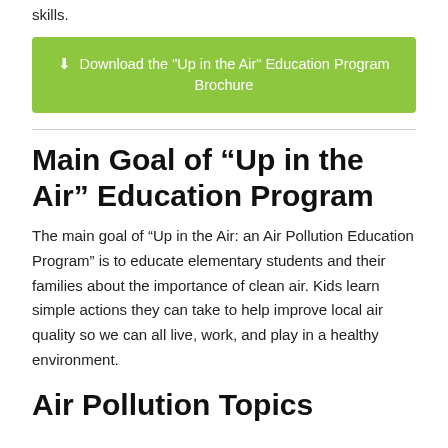skills.
Download the "Up in the Air" Education Program Brochure
Main Goal of “Up in the Air” Education Program
The main goal of “Up in the Air: an Air Pollution Education Program” is to educate elementary students and their families about the importance of clean air. Kids learn simple actions they can take to help improve local air quality so we can all live, work, and play in a healthy environment.
Air Pollution Topics